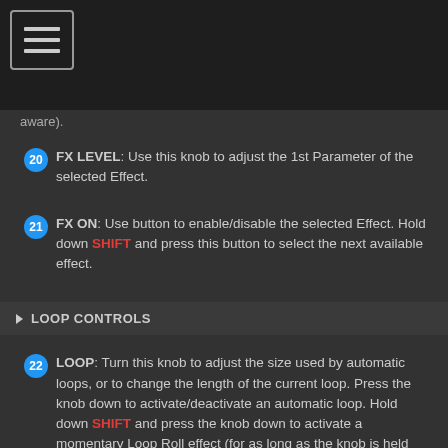[Figure (other): Hamburger menu icon (three horizontal lines in a rounded rectangle border)]
aware).
20 FX LEVEL: Use this knob to adjust the 1st Parameter of the selected Effect.
21 FX ON: Use button to enable/disable the selected Effect. Hold down SHIFT and press this button to select the next available effect.
LOOP CONTROLS
22 LOOP: Turn this knob to adjust the size used by automatic loops, or to change the length of the current loop. Press the knob down to activate/deactivate an automatic loop. Hold down SHIFT and press the knob down to activate a momentary Loop Roll effect (for as long as the knob is held down)
PAD CONTROLS